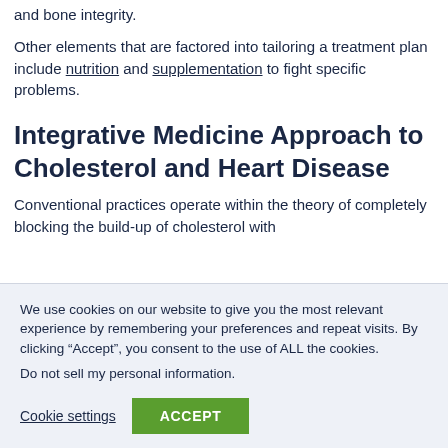and bone integrity.
Other elements that are factored into tailoring a treatment plan include nutrition and supplementation to fight specific problems.
Integrative Medicine Approach to Cholesterol and Heart Disease
Conventional practices operate within the theory of completely blocking the build-up of cholesterol with
We use cookies on our website to give you the most relevant experience by remembering your preferences and repeat visits. By clicking “Accept”, you consent to the use of ALL the cookies.
Do not sell my personal information.